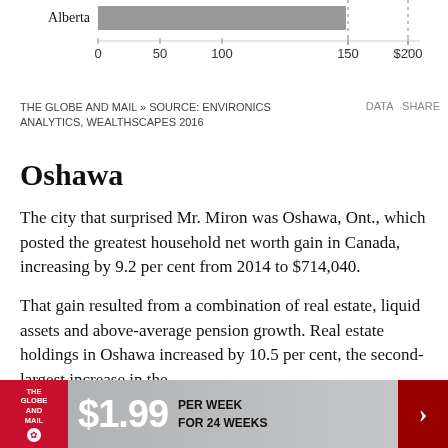[Figure (bar-chart): Partial horizontal bar chart showing Alberta with a gray bar extending to approximately 120 on a scale from 0 to $200, with axis labels at 0, 50, 100, 150, $200]
THE GLOBE AND MAIL » SOURCE: ENVIRONICS ANALYTICS, WEALTHSCAPES 2016
Oshawa
The city that surprised Mr. Miron was Oshawa, Ont., which posted the greatest household net worth gain in Canada, increasing by 9.2 per cent from 2014 to $714,040.
That gain resulted from a combination of real estate, liquid assets and above-average pension growth. Real estate holdings in Oshawa increased by 10.5 per cent, the second-largest increase in the
[Figure (infographic): Advertisement banner: The Globe and Mail subscription offer - $1.99 per week for 24 weeks]